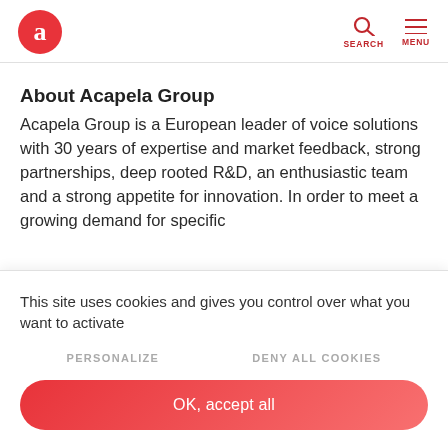a [logo] SEARCH MENU
About Acapela Group
Acapela Group is a European leader of voice solutions with 30 years of expertise and market feedback, strong partnerships, deep rooted R&D, an enthusiastic team and a strong appetite for innovation. In order to meet a growing demand for specific
This site uses cookies and gives you control over what you want to activate
PERSONALIZE
DENY ALL COOKIES
OK, accept all